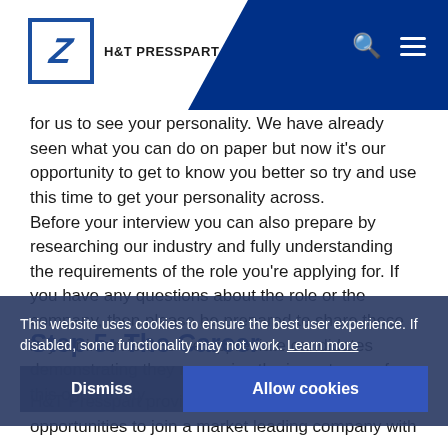H&T PRESSPART
for us to see your personality. We have already seen what you can do on paper but now it's our opportunity to get to know you better so try and use this time to get your personality across. Before your interview you can also prepare by researching our industry and fully understanding the requirements of the role you're applying for. If you have any questions about the role or the company, then please be prepared to share these in your interview as we appreciate candidates demonstrating they recognise the importance of this opportunity.
This website uses cookies to ensure the best user experience. If disabled, some functionality may not work. Learn more
Step 5: The Career
H&T Presspart provides excellent career opportunities to join a market leading company with